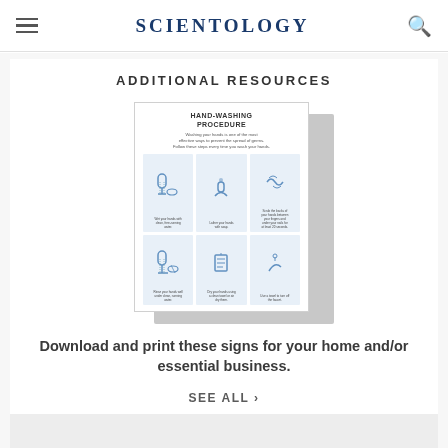Scientology
ADDITIONAL RESOURCES
[Figure (infographic): Hand-Washing Procedure infographic showing 6 illustrated steps in a grid layout. Title reads HAND-WASHING PROCEDURE with subtitle text about washing hands being effective to prevent spread of germs. Six illustrated steps showing hand-washing steps.]
Download and print these signs for your home and/or essential business.
SEE ALL ›